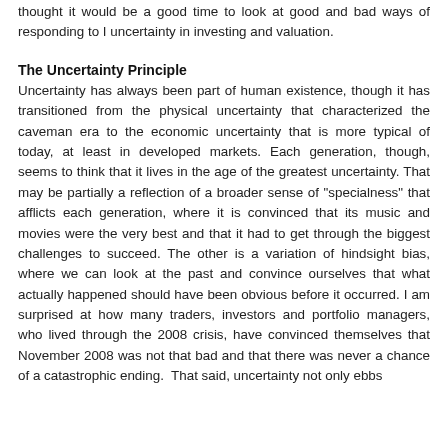thought it would be a good time to look at good and bad ways of responding to I uncertainty in investing and valuation.
The Uncertainty Principle
Uncertainty has always been part of human existence, though it has transitioned from the physical uncertainty that characterized the caveman era to the economic uncertainty that is more typical of today, at least in developed markets. Each generation, though, seems to think that it lives in the age of the greatest uncertainty. That may be partially a reflection of a broader sense of "specialness" that afflicts each generation, where it is convinced that its music and movies were the very best and that it had to get through the biggest challenges to succeed. The other is a variation of hindsight bias, where we can look at the past and convince ourselves that what actually happened should have been obvious before it occurred. I am surprised at how many traders, investors and portfolio managers, who lived through the 2008 crisis, have convinced themselves that November 2008 was not that bad and that there was never a chance of a catastrophic ending. That said, uncertainty not only ebbs